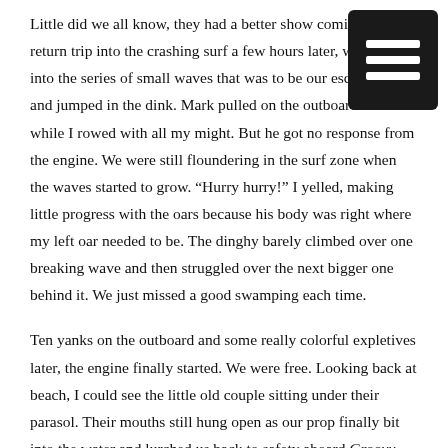Little did we all know, they had a better show coming. On the return trip into the crashing surf a few hours later, we waded into the series of small waves that was to be our escape route and jumped in the dink. Mark pulled on the outboard starter while I rowed with all my might. But he got no response from the engine. We were still floundering in the surf zone when the waves started to grow. “Hurry hurry!” I yelled, making little progress with the oars because his body was right where my left oar needed to be. The dinghy barely climbed over one breaking wave and then struggled over the next bigger one behind it. We just missed a good swamping each time.
Ten yanks on the outboard and some really colorful expletives later, the engine finally started. We were free. Looking back at beach, I could see the little old couple sitting under their parasol. Their mouths still hung open as our prop finally bit into the water and lurched us back to safety aboard Groovy.